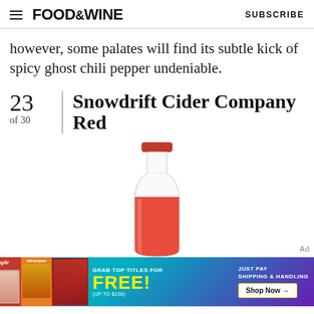FOOD&WINE   SUBSCRIBE
however, some palates will find its subtle kick of spicy ghost chili pepper undeniable.
23 of 30 | Snowdrift Cider Company Red
[Figure (photo): A bottle of Snowdrift Cider Company Red cider — clear glass bottle with red liquid and a red crown cap, showing just the neck and upper body of the bottle.]
[Figure (infographic): Advertisement banner: 'GRAB TOP TITLES FOR FREE! (UP TO $100) JUST PAY SHIPPING & HANDLING Shop Now →' with People and allrecipes magazine covers shown.]